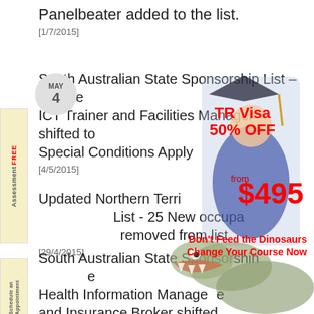Panelbeater added to the list.
[1/7/2015]
South Australian State Sponsorship List – Update ICT Trainer and Facilities Manager shifted to Special Conditions Apply
[4/5/2015]
Updated Northern Territory Skilled Occupation List - 25 New occupations added and 3 removed from list
[29/4/2015]
South Australian State Sponsorship List – Update Health Information Manager and Insurance Broker shifted to Special Conditions Apply
[Figure (photo): Advertisement overlay showing a graduate student in cap and gown with promotional text: TR Visa 50% OFF from $495]
[Figure (photo): T-Rex dinosaur image with text: Don't Feed the Dinosaurs Change Your Course Now]